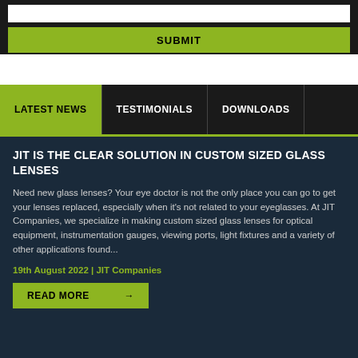[Figure (screenshot): White input bar for form submission]
SUBMIT
LATEST NEWS | TESTIMONIALS | DOWNLOADS
JIT IS THE CLEAR SOLUTION IN CUSTOM SIZED GLASS LENSES
Need new glass lenses? Your eye doctor is not the only place you can go to get your lenses replaced, especially when it's not related to your eyeglasses. At JIT Companies, we specialize in making custom sized glass lenses for optical equipment, instrumentation gauges, viewing ports, light fixtures and a variety of other applications found...
19th August 2022 | JIT Companies
READ MORE →